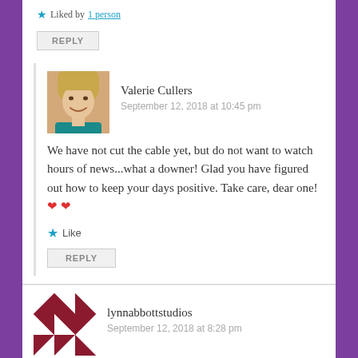Liked by 1 person
REPLY
[Figure (photo): Profile photo of Valerie Cullers, a woman with blonde hair smiling]
Valerie Cullers
September 12, 2018 at 10:45 pm
We have not cut the cable yet, but do not want to watch hours of news...what a downer! Glad you have figured out how to keep your days positive. Take care, dear one! ❤ ❤
Like
REPLY
[Figure (logo): Quilt pattern avatar for lynnabbottstudios in dark red/maroon on white]
lynnabbottstudios
September 12, 2018 at 8:28 pm
...